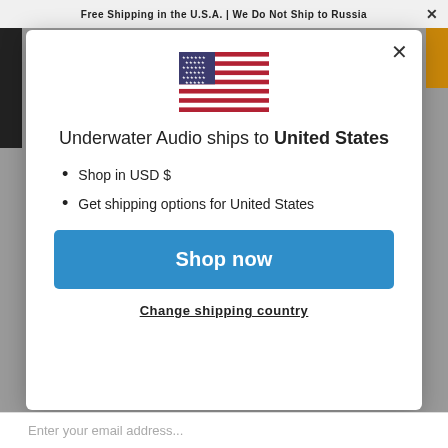Free Shipping in the U.S.A. | We Do Not Ship to Russia
[Figure (illustration): US flag SVG illustration centered in modal]
Underwater Audio ships to United States
Shop in USD $
Get shipping options for United States
Shop now
Change shipping country
Enter your email address...